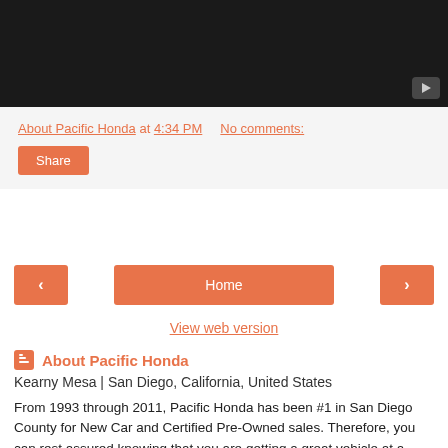[Figure (screenshot): Dark video player area with play button in bottom-right corner]
About Pacific Honda at 4:34 PM    No comments:
Share
< Home >
View web version
About Pacific Honda
Kearny Mesa | San Diego, California, United States
From 1993 through 2011, Pacific Honda has been #1 in San Diego County for New Car and Certified Pre-Owned sales. Therefore, you can rest assured knowing that you are getting a great vehicle at a GREAT price! *Based on information provided by American Honda